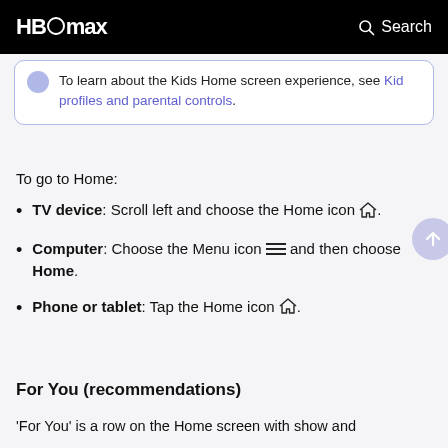HBO max  Search
To learn about the Kids Home screen experience, see Kid profiles and parental controls.
To go to Home:
TV device: Scroll left and choose the Home icon [home icon].
Computer: Choose the Menu icon [menu icon] and then choose Home.
Phone or tablet: Tap the Home icon [home icon].
For You (recommendations)
'For You' is a row on the Home screen with show and